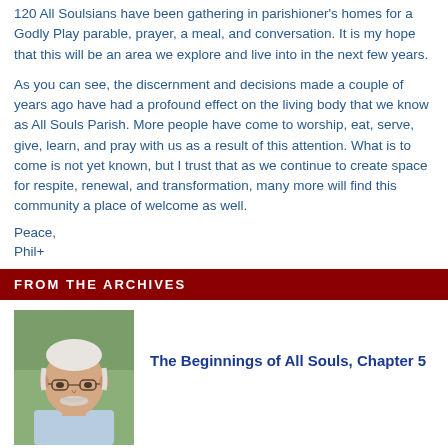120 All Soulsians have been gathering in parishioner's homes for a Godly Play parable, prayer, a meal, and conversation. It is my hope that this will be an area we explore and live into in the next few years.
As you can see, the discernment and decisions made a couple of years ago have had a profound effect on the living body that we know as All Souls Parish. More people have come to worship, eat, serve, give, learn, and pray with us as a result of this attention. What is to come is not yet known, but I trust that as we continue to create space for respite, renewal, and transformation, many more will find this community a place of welcome as well.
Peace,
Phil+
FROM THE ARCHIVES
[Figure (photo): Portrait photo of an older man with white hair, beard, and glasses, wearing a light blue shirt, outdoors with green foliage background.]
The Beginnings of All Souls, Chapter 5